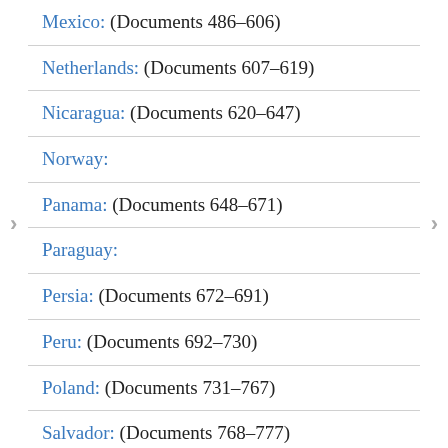Mexico: (Documents 486–606)
Netherlands: (Documents 607–619)
Nicaragua: (Documents 620–647)
Norway:
Panama: (Documents 648–671)
Paraguay:
Persia: (Documents 672–691)
Peru: (Documents 692–730)
Poland: (Documents 731–767)
Salvador: (Documents 768–777)
Spain: (Documents 778–780)